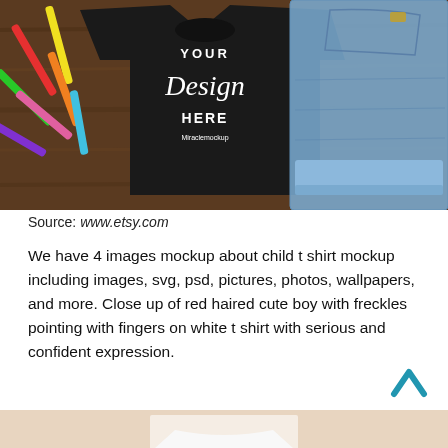[Figure (photo): Flat lay photo of a black child t-shirt with 'YOUR Design HERE Miraclemockup' text on it, surrounded by colorful crayons on a wooden surface, with blue denim jeans beside it.]
Source: www.etsy.com
We have 4 images mockup about child t shirt mockup including images, svg, psd, pictures, photos, wallpapers, and more. Close up of red haired cute boy with freckles pointing with fingers on white t shirt with serious and confident expression.
[Figure (photo): Bottom portion of a person wearing a white t-shirt, cropped at the neckline.]